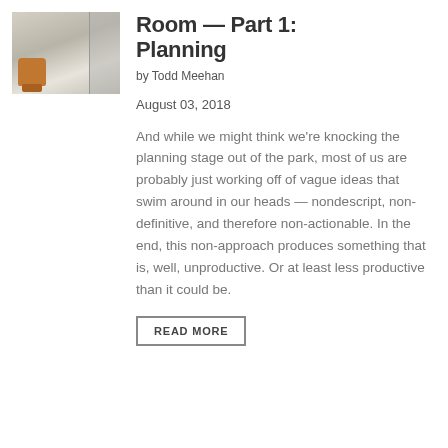[Figure (photo): Interior room photo showing a corridor with an orange chair and glass doors]
Room — Part 1: Planning
by Todd Meehan
August 03, 2018
And while we might think we're knocking the planning stage out of the park, most of us are probably just working off of vague ideas that swim around in our heads — nondescript, non-definitive, and therefore non-actionable. In the end, this non-approach produces something that is, well, unproductive. Or at least less productive than it could be.
READ MORE